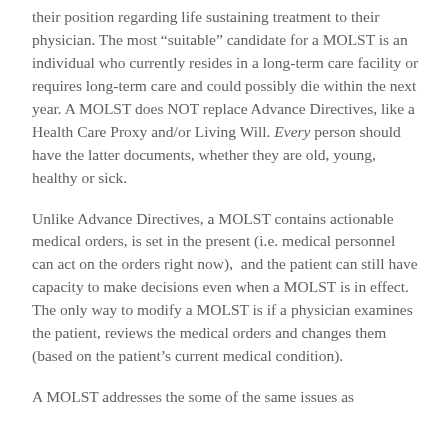their position regarding life sustaining treatment to their physician. The most “suitable” candidate for a MOLST is an individual who currently resides in a long-term care facility or requires long-term care and could possibly die within the next year. A MOLST does NOT replace Advance Directives, like a Health Care Proxy and/or Living Will. Every person should have the latter documents, whether they are old, young, healthy or sick.
Unlike Advance Directives, a MOLST contains actionable medical orders, is set in the present (i.e. medical personnel can act on the orders right now),  and the patient can still have capacity to make decisions even when a MOLST is in effect. The only way to modify a MOLST is if a physician examines the patient, reviews the medical orders and changes them (based on the patient’s current medical condition).
A MOLST addresses the some of the same issues as